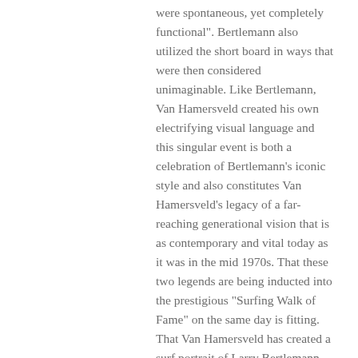were spontaneous, yet completely functional". Bertlemann also utilized the short board in ways that were then considered unimaginable. Like Bertlemann, Van Hamersveld created his own electrifying visual language and this singular event is both a celebration of Bertlemann’s iconic style and also constitutes Van Hamersveld’s legacy of a far-reaching generational vision that is as contemporary and vital today as it was in the mid 1970s. That these two legends are being inducted into the prestigious “Surfing Walk of Fame” on the same day is fitting. That Van Hamersveld has created a surf portrait of Larry Bertlemann during the 50th anniversary of the most important image in surfing – the Endless Summer – is both telling and timeless.
Shop Bertlemann T's & Tanks ------>
California Locos Collection